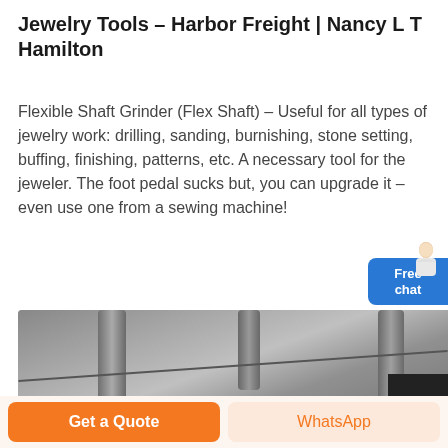Jewelry Tools – Harbor Freight | Nancy L T Hamilton
Flexible Shaft Grinder (Flex Shaft) – Useful for all types of jewelry work: drilling, sanding, burnishing, stone setting, buffing, finishing, patterns, etc. A necessary tool for the jeweler. The foot pedal sucks but, you can upgrade it – even use one from a sewing machine!
[Figure (photo): Close-up grayscale photo of industrial machinery with pipes and cables, partially visible at the bottom of the page]